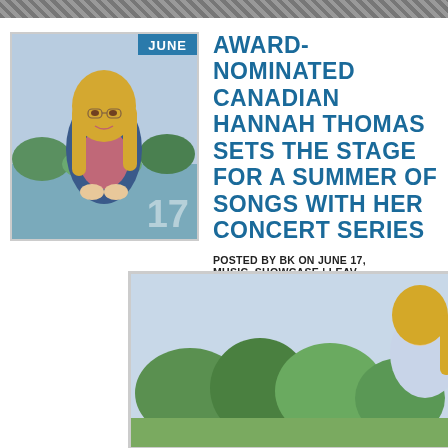[Figure (photo): Top decorative bar with diagonal stripe pattern]
[Figure (photo): Photo of Hannah Thomas, a young blonde woman sitting outdoors near water, wearing a denim jacket and pink top. A blue badge in the top-right corner reads JUNE with the number 17.]
AWARD-NOMINATED CANADIAN HANNAH THOMAS SETS THE STAGE FOR A SUMMER OF SONGS WITH HER CONCERT SERIES
POSTED BY BK ON JUNE 17, MUSIC, SHOWCASE | LEAVE A...
Watch "'Just Sing' Dock Mural — Featuring Hannah Scott" by Kris Von Kleist via YouTube
[Figure (photo): Partial photo of a person with blonde hair outdoors, with green trees and blue sky in background.]